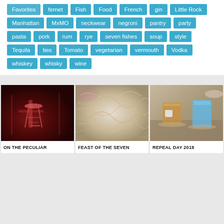Favorites fernet Fish Food French gin Little Rock Manhattan MxMO neckwear negroni pantry party pasta pork rum rye seven fishes soup style Tequila ties Tomato vegetarian vermouth Vodka whiskey whisky wine
[Figure (photo): Dark red-lit bar interior with bar stool]
ON THE PECULIAR
[Figure (photo): Close-up of pasta noodles]
FEAST OF THE SEVEN
[Figure (photo): Drinks on a table with whiskey and blue glass]
REPEAL DAY 2018